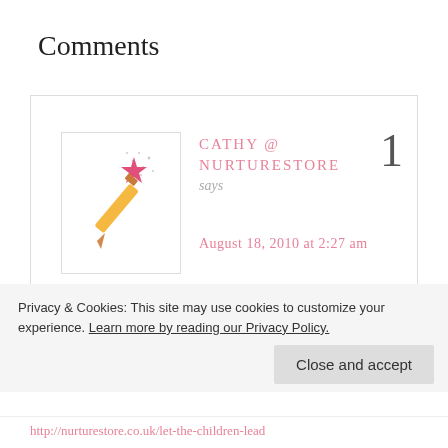Comments
[Figure (illustration): A magic wand with a pink star and sparkles, resembling a pencil wand illustration used as avatar/profile image]
CATHY @ NURTURESTORE says 1
August 18, 2010 at 2:27 am
This is packed with ideas – thank you.

One thing we are working on is a sensory
Privacy & Cookies: This site may use cookies to customize your experience. Learn more by reading our Privacy Policy.
Close and accept
http://...